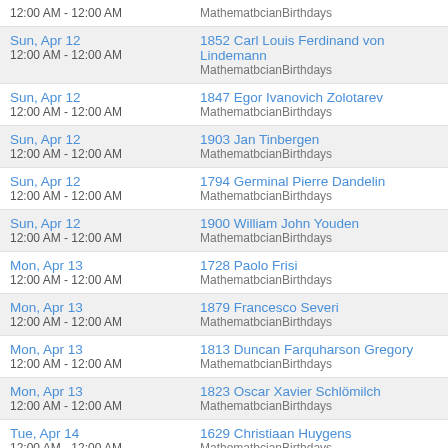| Date | Event |
| --- | --- |
| 12:00 AM - 12:00 AM | MathematbcianBirthdays |
| Sun, Apr 12
12:00 AM - 12:00 AM | 1852 Carl Louis Ferdinand von Lindemann
MathematbcianBirthdays |
| Sun, Apr 12
12:00 AM - 12:00 AM | 1847 Egor Ivanovich Zolotarev
MathematbcianBirthdays |
| Sun, Apr 12
12:00 AM - 12:00 AM | 1903 Jan Tinbergen
MathematbcianBirthdays |
| Sun, Apr 12
12:00 AM - 12:00 AM | 1794 Germinal Pierre Dandelin
MathematbcianBirthdays |
| Sun, Apr 12
12:00 AM - 12:00 AM | 1900 William John Youden
MathematbcianBirthdays |
| Mon, Apr 13
12:00 AM - 12:00 AM | 1728 Paolo Frisi
MathematbcianBirthdays |
| Mon, Apr 13
12:00 AM - 12:00 AM | 1879 Francesco Severi
MathematbcianBirthdays |
| Mon, Apr 13
12:00 AM - 12:00 AM | 1813 Duncan Farquharson Gregory
MathematbcianBirthdays |
| Mon, Apr 13
12:00 AM - 12:00 AM | 1823 Oscar Xavier Schlömilch
MathematbcianBirthdays |
| Tue, Apr 14
12:00 AM - 12:00 AM | 1629 Christiaan Huygens
MathematbcianBirthdays |
| Wed, Apr 15
12:00 AM - 12:00 AM | 1548 Pietro Antonio Cataldi
MathematbcianBirthdays |
| Wed, Apr 15
12:00 AM - 12:00 AM | 1707 Leonhard Euler
MathematbcianBirthdays |
| Wed, Apr 15
12:00 AM - 12:00 AM | 1929 Thomas Brooke Benjamin
MathematbcianBirthdays |
| Wed, Apr 15
12:00 AM - 12:00 AM | 1452 Leonardo da Vinci
MathematbcianBirthdays |